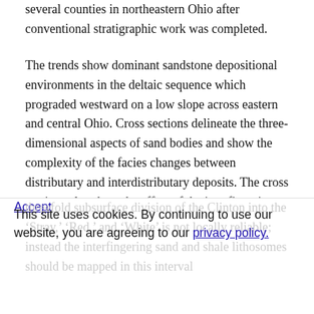several counties in northeastern Ohio after conventional stratigraphic work was completed.
The trends show dominant sandstone depositional environments in the deltaic sequence which prograded westward on a low slope across eastern and central Ohio. Cross sections delineate the three-dimensional aspects of sand bodies and show the complexity of the facies changes between distributary and interdistributary deposits. The cross sections also show the effect of the interfingering nature of the Clinton reservoirs over small distances on petroleum production. In addition, they illustrate that the
threefold subsurface division of the Clinton into the 'Stray,' 'Red,' and 'White' is not locally reliable; instead the interfingering sand and shale lithosomes should be mapped in this interval
This site uses cookies. By continuing to use our website, you are agreeing to our privacy policy. Accept